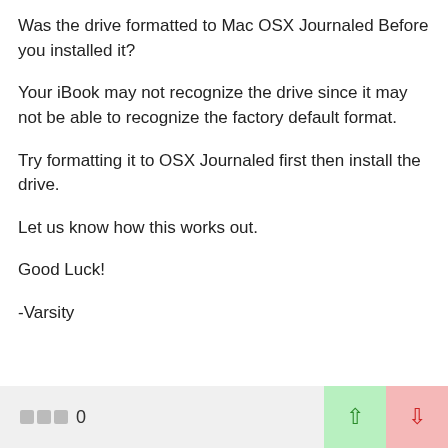Was the drive formatted to Mac OSX Journaled Before you installed it?
Your iBook may not recognize the drive since it may not be able to recognize the factory default format.
Try formatting it to OSX Journaled first then install the drive.
Let us know how this works out.
Good Luck!
-Varsity